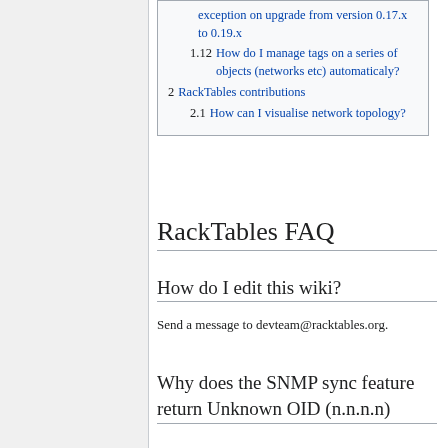exception on upgrade from version 0.17.x to 0.19.x
1.12 How do I manage tags on a series of objects (networks etc) automaticaly?
2 RackTables contributions
2.1 How can I visualise network topology?
RackTables FAQ
How do I edit this wiki?
Send a message to devteam@racktables.org.
Why does the SNMP sync feature return Unknown OID (n.n.n.n)